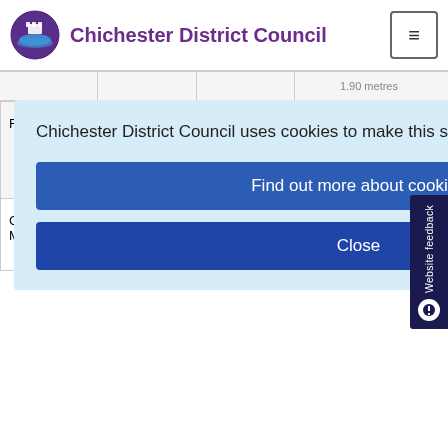Chichester District Council
Chichester District Council uses cookies to make this site simpler.
Find out more about cookies
Close
| Location | Postcode | Phone | Details |
| --- | --- | --- | --- |
| Road |  |  | 2 Disabled
Park Ma... Parking A...
Disabled accredita... |
| Cattle Market | PO19 1JW | 711014 | 836
10 disabled
Height |